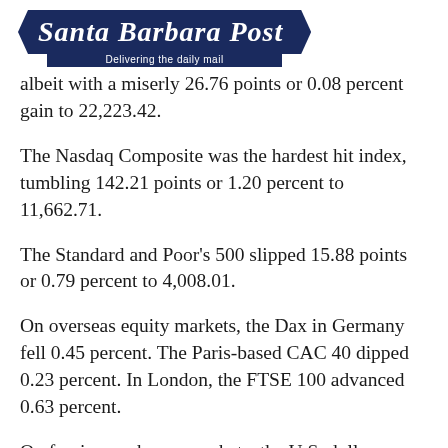Santa Barbara Post — Delivering the daily mail
albeit with a miserly 26.76 points or 0.08 percent gain to 22,223.42.
The Nasdaq Composite was the hardest hit index, tumbling 142.21 points or 1.20 percent to 11,662.71.
The Standard and Poor's 500 slipped 15.88 points or 0.79 percent to 4,008.01.
On overseas equity markets, the Dax in Germany fell 0.45 percent. The Paris-based CAC 40 dipped 0.23 percent. In London, the FTSE 100 advanced 0.63 percent.
On foreign exchange markets, the U.S. dollar weakened marginally, except against the Japanese